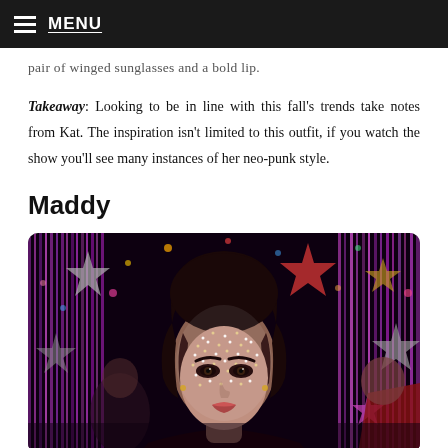MENU
pair of winged sunglasses and a bold lip.
Takeaway: Looking to be in line with this fall's trends take notes from Kat. The inspiration isn't limited to this outfit, if you watch the show you'll see many instances of her neo-punk style.
Maddy
[Figure (photo): Young woman with dark hair wearing a jeweled/rhinestone veil or head covering, smoky eye makeup, in front of a sparkly background with colorful star decorations and purple/pink tinsel curtains. Scene appears to be from the TV show Euphoria.]